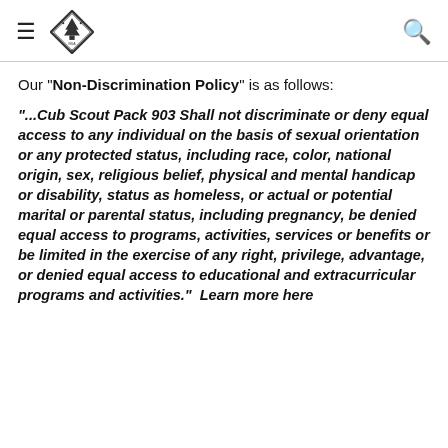BSA Cub Scout Pack 903 logo and navigation header
Our "Non-Discrimination Policy" is as follows:
"...Cub Scout Pack 903 Shall not discriminate or deny equal access to any individual on the basis of sexual orientation or any protected status, including race, color, national origin, sex, religious belief, physical and mental handicap or disability, status as homeless, or actual or potential marital or parental status, including pregnancy, be denied equal access to programs, activities, services or benefits or be limited in the exercise of any right, privilege, advantage, or denied equal access to educational and extracurricular programs and activities.". Learn more here